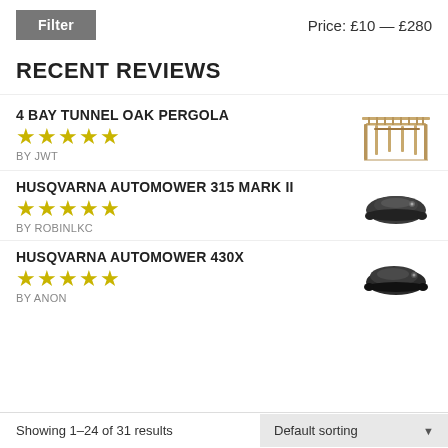Filter | Price: £10 — £280
RECENT REVIEWS
4 BAY TUNNEL OAK PERGOLA — ★★★★★ — BY JWT
[Figure (photo): Thumbnail image of a wooden oak pergola structure]
HUSQVARNA AUTOMOWER 315 MARK II — ★★★★★ — BY ROBINLKC
[Figure (photo): Thumbnail image of Husqvarna Automower 315 Mark II robotic lawnmower]
HUSQVARNA AUTOMOWER 430X — ★★★★★ — BY ANON
[Figure (photo): Thumbnail image of Husqvarna Automower 430X robotic lawnmower]
Showing 1–24 of 31 results | Default sorting